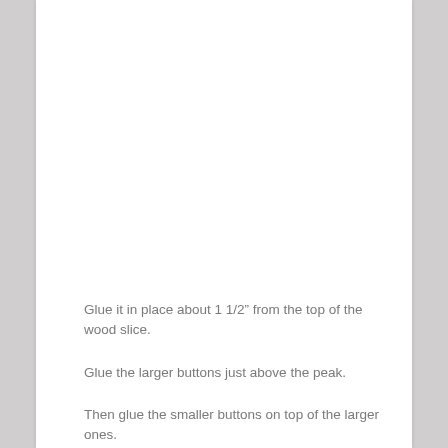Glue it in place about 1 1/2” from the top of the wood slice.
Glue the larger buttons just above the peak.
Then glue the smaller buttons on top of the larger ones.